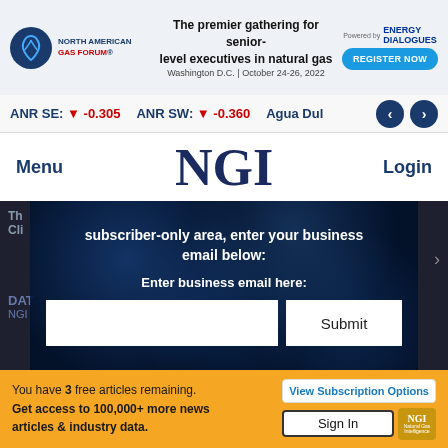[Figure (screenshot): North American Gas Forum banner advertisement with logo, event description, and Register Now button]
ANR SE: ▼ -0.305   ANR SW: ▼ -0.360   Agua Dul…
NGI
Menu
Login
subscriber-only area, enter your business email below:
Enter business email here:
Submit
Th
Cli
DAT
NGI
You have 3 free articles remaining.
Get access to 100,000+ more news articles & industry data.
View Subscription Options
Sign In